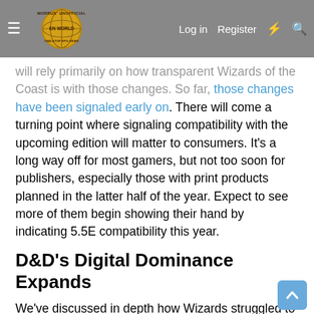Morrus' Unofficial Tabletop RPG News — Log in | Register
will rely primarily on how transparent Wizards of the Coast is with those changes. So far, those changes have been signaled early on. There will come a turning point where signaling compatibility with the upcoming edition will matter to consumers. It's a long way off for most gamers, but not too soon for publishers, especially those with print products planned in the latter half of the year. Expect to see more of them begin showing their hand by indicating 5.5E compatibility this year.
D&D's Digital Dominance Expands
We've discussed in depth how Wizards struggled to develop a coherent digital strategy until finally just outsourcing the whole business to third parties. But there's a new CEO in town, and Chris Cocks' background in digital seems rooted in plans for the future of both D&D and Magic. Cocks led the creation of a Digital Games